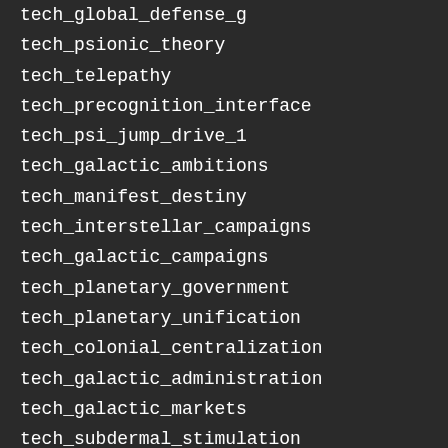tech_global_defense_grid
tech_psionic_theory
tech_telepathy
tech_precognition_interface
tech_psi_jump_drive_1
tech_galactic_ambitions
tech_manifest_destiny
tech_interstellar_campaigns
tech_galactic_campaigns
tech_planetary_government
tech_planetary_unification
tech_colonial_centralization
tech_galactic_administration
tech_galactic_markets
tech_subdermal_stimulation
tech_galactic_benevolence
tech_adaptive_bureaucracy
tech_colonial_bureaucracy
tech_galactic_bureaucracy